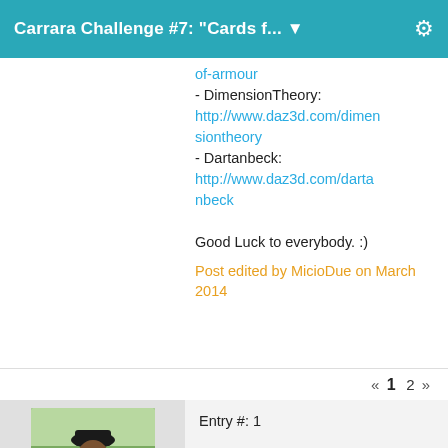Carrara Challenge #7: "Cards f... ▼
of-armour
- DimensionTheory: http://www.daz3d.com/dimensiontheory
- Dartanbeck: http://www.daz3d.com/dartanbeck

Good Luck to everybody. :)
Post edited by MicioDue on March 2014
« 1 2 »
[Figure (photo): Avatar photo of a person wearing a dark hat, outdoors]
Entry #: 1

Title: Heroclix Wars

Modifiers: Bend/Twist-On her